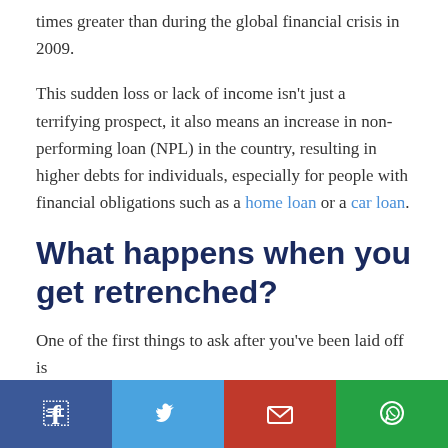times greater than during the global financial crisis in 2009.
This sudden loss or lack of income isn't just a terrifying prospect, it also means an increase in non-performing loan (NPL) in the country, resulting in higher debts for individuals, especially for people with financial obligations such as a home loan or a car loan.
What happens when you get retrenched?
One of the first things to ask after you've been laid off is whether you are entitled to retrenchment benefits
[Figure (other): Social share bar with Facebook, Twitter, Email, and WhatsApp buttons]